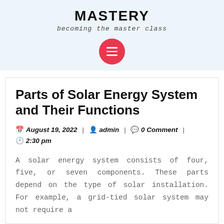MASTERY
becoming the master class
Parts of Solar Energy System and Their Functions
August 19, 2022 | admin | 0 Comment | 2:30 pm
A solar energy system consists of four, five, or seven components. These parts depend on the type of solar installation. For example, a grid-tied solar system may not require a